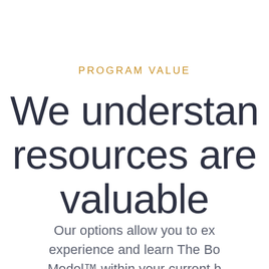PROGRAM VALUE
We understand resources are valuable
Our options allow you to ex- experience and learn The Bo- Model™ within your current b-